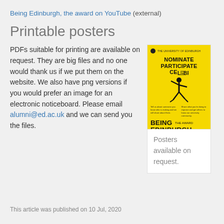Being Edinburgh, the award on YouTube (external)
Printable posters
PDFs suitable for printing are available on request. They are big files and no one would thank us if we put them on the website. We also have png versions if you would prefer an image for an electronic noticeboard. Please email alumni@ed.ac.uk and we can send you the files.
[Figure (illustration): Yellow 'Being Edinburgh, the award' promotional poster featuring a dancing figure with bold text: NOMINATE PARTICIPATE CELEBRATE and BEING EDINBURGH at the bottom]
Posters available on request.
This article was published on 10 Jul, 2020